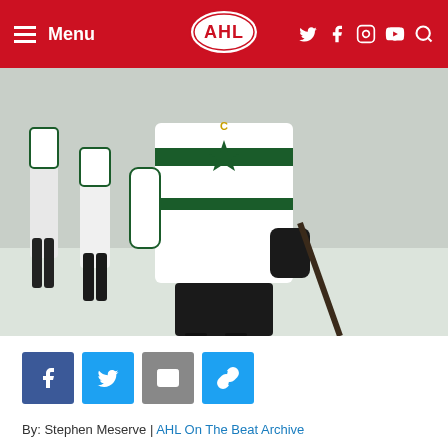Menu | AHL | (social icons)
[Figure (photo): Hockey players in white and green Dallas Stars AHL uniforms walking on ice, holding sticks, viewed from waist down]
[Figure (infographic): Social share buttons: Facebook (blue), Twitter (blue), Email (grey), Link (blue)]
By: Stephen Meserve | AHL On The Beat Archive
Every Canadian kid dreams of playing in the National Hockey League. The road to get there usually involves plenty of youth hockey, some Tier 2 junior, a stint in major junior, a stop in the American Hockey League and then the big sh...